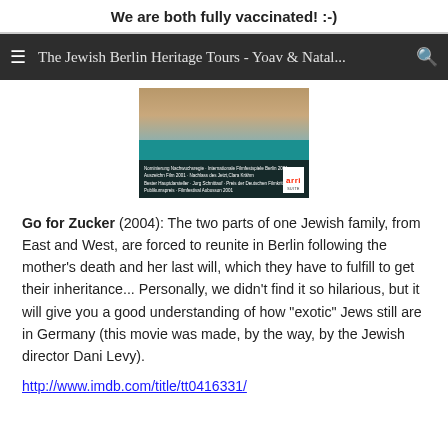We are both fully vaccinated! :-)
The Jewish Berlin Heritage Tours - Yoav & Natal...
[Figure (screenshot): Movie cover/poster screenshot with teal background showing award information text and arri logo]
Go for Zucker (2004): The two parts of one Jewish family, from East and West, are forced to reunite in Berlin following the mother's death and her last will, which they have to fulfill to get their inheritance... Personally, we didn't find it so hilarious, but it will give you a good understanding of how "exotic" Jews still are in Germany (this movie was made, by the way, by the Jewish director Dani Levy).
http://www.imdb.com/title/tt0416331/